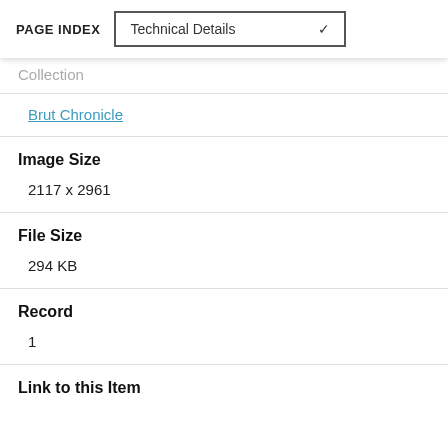PAGE INDEX | Technical Details
Collection
Brut Chronicle
Image Size
2117 x 2961
File Size
294 KB
Record
1
Link to this Item